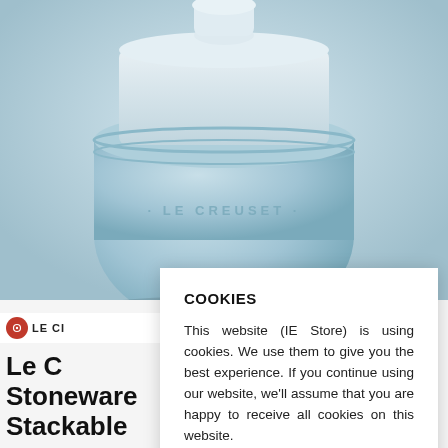[Figure (photo): Le Creuset stoneware jar in pale blue/coastal blue color with embossed LE CREUSET branding on the side, showing the upper portion of the jar against a light blue background.]
[Figure (logo): Le Creuset logo — circular red icon with flower/cog symbol followed by 'LE CR' text (partially obscured by cookie modal)]
Le C... Stoneware Stackable
9103070842 (partially visible phone/product number in gray)
COOKIES
This website (IE Store) is using cookies. We use them to give you the best experience. If you continue using our website, we'll assume that you are happy to receive all cookies on this website.
CONTINUE   ACCEPT ALL
Learn more